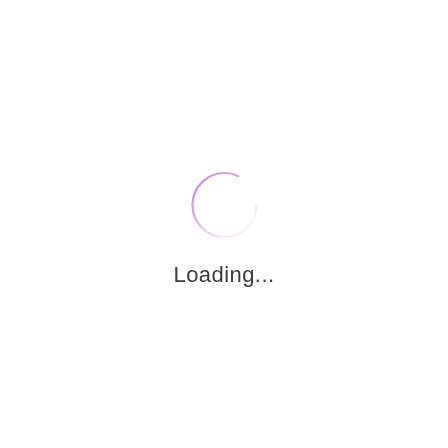[Figure (other): A circular loading spinner ring with a purple-to-pink gradient stroke on a white background, with 'Loading...' text below]